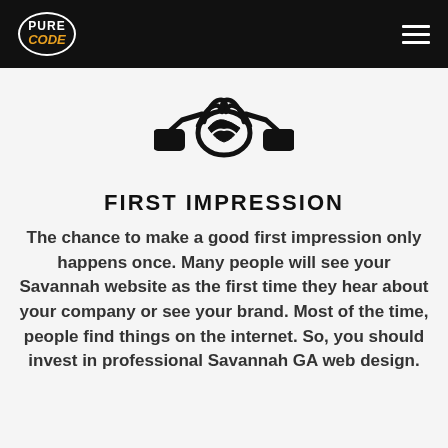PURE CODE (logo) — navigation header
[Figure (illustration): Handshake icon — two hands shaking, black outline illustration]
FIRST IMPRESSION
The chance to make a good first impression only happens once. Many people will see your Savannah website as the first time they hear about your company or see your brand. Most of the time, people find things on the internet. So, you should invest in professional Savannah GA web design.